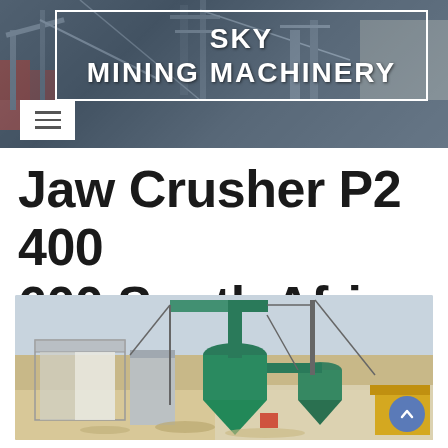[Figure (screenshot): Sky Mining Machinery website header banner with dark industrial machinery background. White bordered logo box contains text 'SKY MINING MACHINERY' in bold white letters. White hamburger menu icon in bottom left.]
Jaw Crusher P2 400 600 South Africa
[Figure (photo): Outdoor photo of industrial mining/milling machinery including a large green cyclone dust collector, conveyor equipment, structural steel framework building, and yellow machinery on a dusty desert site.]